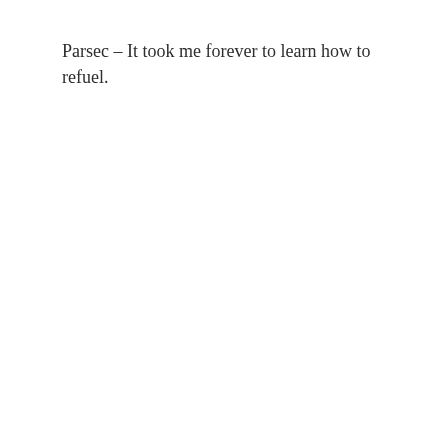Parsec – It took me forever to learn how to refuel.